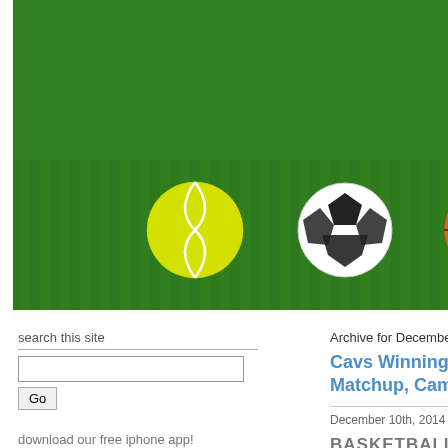[Figure (illustration): Sports website header banner showing a green grass field with a yellow tennis ball, black-and-white soccer ball, and orange basketball. On the right side is a pink shield logo with gold stars and a gray banner ribbon reading 'FEMALE' (partially visible). This is the FemaleFan website header.]
search this site
Go
download our free iphone app!
We are happy to announce that FemaleFan now has a free iPhone app. You can download it from the App Store.
Archive for December 10th, 201
Cavs Winning Again Matchup, Cam New
December 10th, 2014 | Category: Unc
BASKETBALL
In the NBA, when LeBron Jame